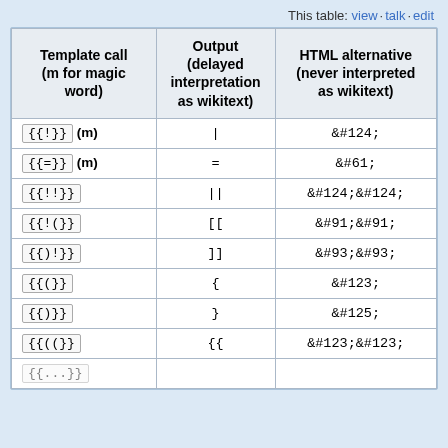This table: view · talk · edit
| Template call (m for magic word) | Output (delayed interpretation as wikitext) | HTML alternative (never interpreted as wikitext) |
| --- | --- | --- |
| {{!}} (m) | | | &#124; |
| {{=}} (m) | = | &#61; |
| {{!!}} | || | &#124;&#124; |
| {{!(}} | [[ | &#91;&#91; |
| {{)!}} | ]] | &#93;&#93; |
| {{(}} | { | &#123; |
| {{)}} | } | &#125; |
| {{((}} | {{ | &#123;&#123; |